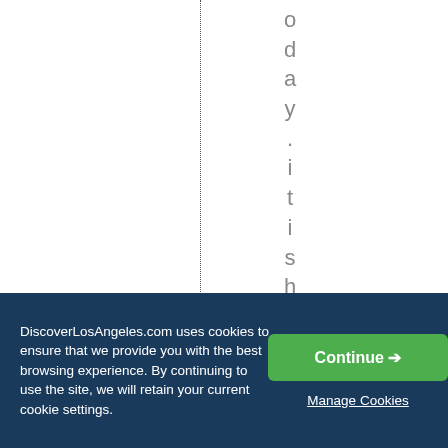oday. it is home to ma
DiscoverLosAngeles.com uses cookies to ensure that we provide you with the best browsing experience. By continuing to use the site, we will retain your current cookie settings.
Continue →
Manage Cookies